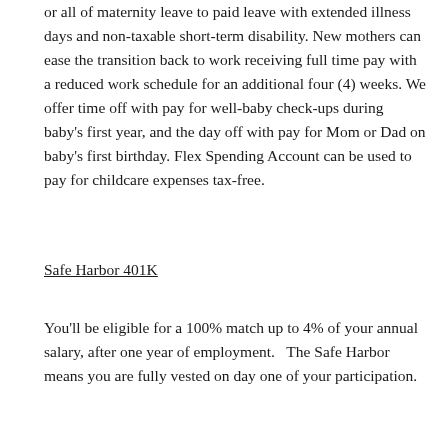or all of maternity leave to paid leave with extended illness days and non-taxable short-term disability. New mothers can ease the transition back to work receiving full time pay with a reduced work schedule for an additional four (4) weeks. We offer time off with pay for well-baby check-ups during baby's first year, and the day off with pay for Mom or Dad on baby's first birthday. Flex Spending Account can be used to pay for childcare expenses tax-free.
Safe Harbor 401K
You'll be eligible for a 100% match up to 4% of your annual salary, after one year of employment.   The Safe Harbor means you are fully vested on day one of your participation.